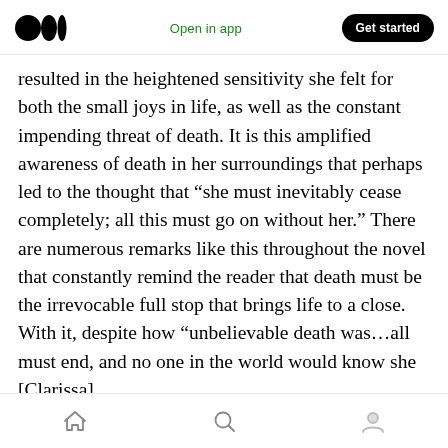Medium logo | Open in app | Get started
resulted in the heightened sensitivity she felt for both the small joys in life, as well as the constant impending threat of death. It is this amplified awareness of death in her surroundings that perhaps led to the thought that “she must inevitably cease completely; all this must go on without her.” There are numerous remarks like this throughout the novel that constantly remind the reader that death must be the irrevocable full stop that brings life to a close. With it, despite how “unbelievable death was…all must end, and no one in the world would know she [Clarissa]
Home | Search | Profile